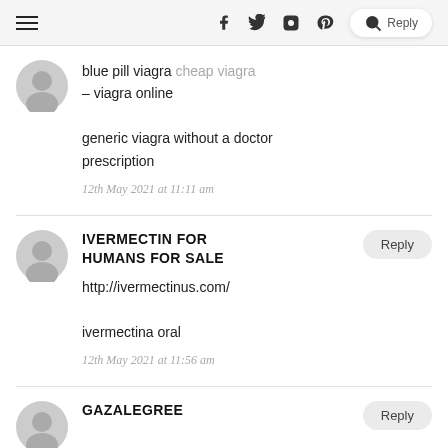Navigation header with hamburger menu, social icons (facebook, twitter, instagram, pinterest), and search button
blue pill viagra cheap viagra – viagra online generic viagra without a doctor prescription
12th May 2021 at 11:11 am
IVERMECTIN FOR HUMANS FOR SALE
http://ivermectinus.com/ ivermectina oral
12th May 2021 at 11:56 am
GAZALEGREE